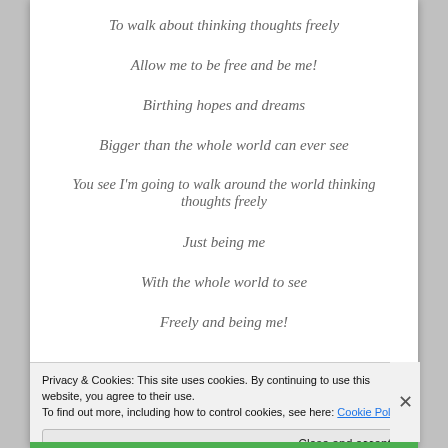To walk about thinking thoughts freely
Allow me to be free and be me!
Birthing hopes and dreams
Bigger than the whole world can ever see
You see I'm going to walk around the world thinking thoughts freely
Just being me
With the whole world to see
Freely and being me!
Privacy & Cookies: This site uses cookies. By continuing to use this website, you agree to their use.
To find out more, including how to control cookies, see here: Cookie Policy
Close and accept